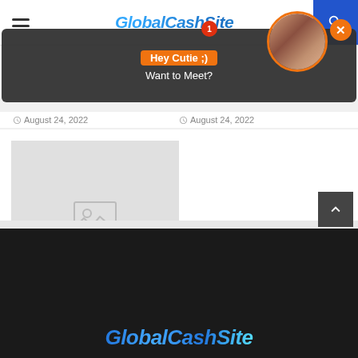GlobalCashSite
[Figure (screenshot): Ad popup overlay with text 'Hey Cutie ;) Want to Meet?' with avatar photo and close button]
August 24, 2022
August 24, 2022
[Figure (photo): Article thumbnail placeholder image (gray with image icon)]
A bullish Bitcoin trend reversal is a far-fetched idea, but this metric...
August 24, 2022
GlobalCashSite